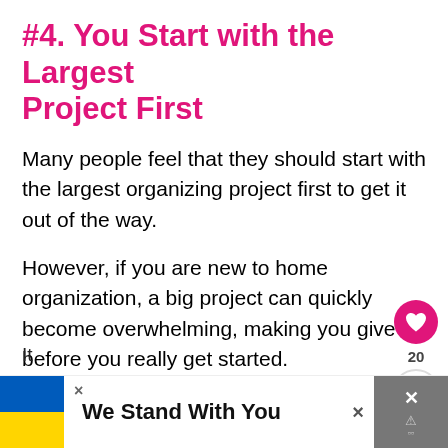#4. You Start with the Largest Project First
Many people feel that they should start with the largest organizing project first to get it out of the way.
However, if you are new to home organization, a big project can quickly become overwhelming, making you give up before you really get started.
Solution – Start Small
It ... el...
[Figure (other): Advertisement banner: Ukrainian flag icon with text 'We Stand With You' and close buttons]
[Figure (other): Social interaction buttons: heart/like button with count 20, and share button]